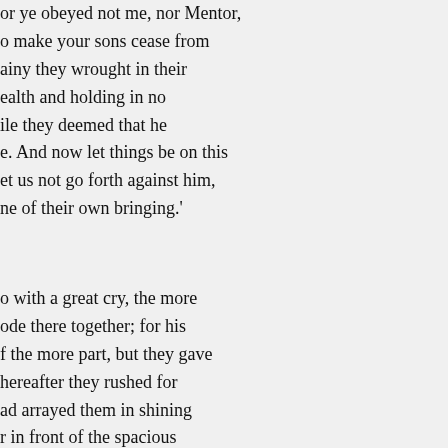or ye obeyed not me, nor Mentor,
o make your sons cease from
ainy they wrought in their
ealth and holding in no
ile they deemed that he
e. And now let things be on this
et us not go forth against him,
ne of their own bringing.'
o with a great cry, the more
ode there together; for his
f the more part, but they gave
hereafter they rushed for
ad arrayed them in shining
r in front of the spacious
in his witlessness, for he
of his son, yet himself was
here to meet his doom.
he son of Cronos, saying: 'O
aroned in the highest, answer
dden counsel of thy heart?
evil war and the terrible
ed to set them at one again
e clouds, answered her saying:
straitly question me, and ask
yself devise this very
us should indeed take vengeance